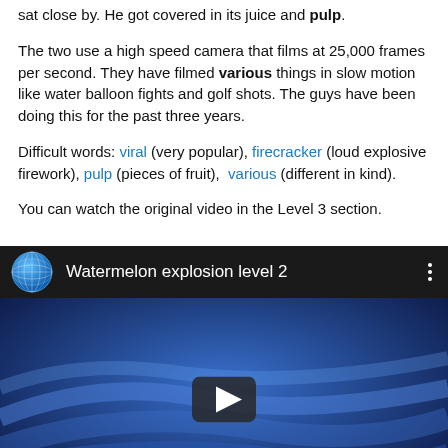sat close by. He got covered in its juice and pulp.
The two use a high speed camera that films at 25,000 frames per second. They have filmed various things in slow motion like water balloon fights and golf shots. The guys have been doing this for the past three years.
Difficult words: viral (very popular), firecracker (loud explosive firework), pulp (pieces of fruit), various (different in kind).
You can watch the original video in the Level 3 section.
[Figure (screenshot): Embedded video player showing 'Watermelon explosion level 2' with a globe icon, video title bar, blue abstract background, play button, text 'Watermelon explosion - level 2', and URL www.newsinlevels.com at the bottom.]